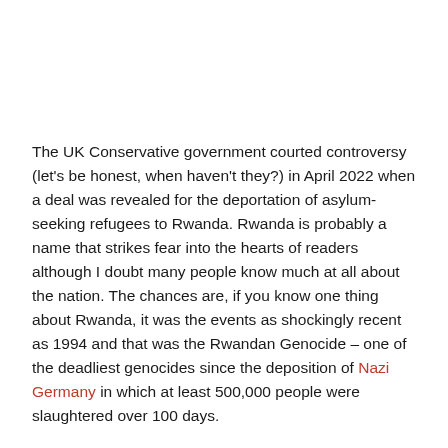The UK Conservative government courted controversy (let's be honest, when haven't they?) in April 2022 when a deal was revealed for the deportation of asylum-seeking refugees to Rwanda. Rwanda is probably a name that strikes fear into the hearts of readers although I doubt many people know much at all about the nation. The chances are, if you know one thing about Rwanda, it was the events as shockingly recent as 1994 and that was the Rwandan Genocide – one of the deadliest genocides since the deposition of Nazi Germany in which at least 500,000 people were slaughtered over 100 days.